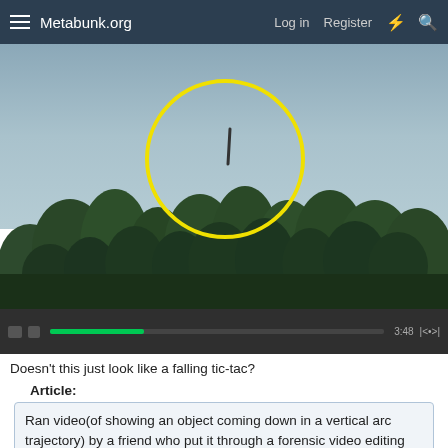Metabunk.org   Log in   Register
[Figure (screenshot): Video still showing a gray sky with trees in the lower portion. A yellow circle is drawn in the upper-center area highlighting a small dark elongated object (described as a falling tic-tac). A video player bar is visible at the bottom of the image.]
Doesn't this just look like a falling tic-tac?
Article:
Ran video(of showing an object coming down in a vertical arc trajectory) by a friend who put it through a forensic video editing program, he does this for a living.